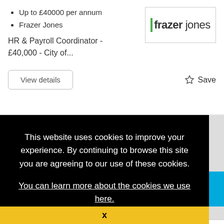Up to £40000 per annum
Frazer Jones
HR & Payroll Coordinator - £40,000 - City of...
[Figure (logo): Frazer Jones company logo with green vertical bar before the word 'frazer' in bold and 'jones' in regular weight]
View details
☆ Save
This website uses cookies to improve your experience. By continuing to browse this site you are agreeing to our use of these cookies.
You can learn more about the cookies we use here.
x